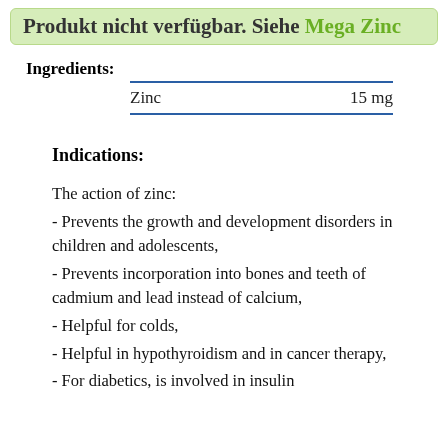Produkt nicht verfügbar. Siehe Mega Zinc
Ingredients:
|  |  |
| --- | --- |
| Zinc | 15 mg |
Indications:
The action of zinc:
- Prevents the growth and development disorders in children and adolescents,
- Prevents incorporation into bones and teeth of cadmium and lead instead of calcium,
- Helpful for colds,
- Helpful in hypothyroidism and in cancer therapy,
- For diabetics, is involved in insulin